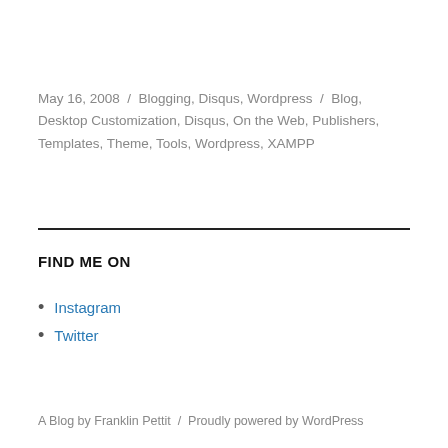May 16, 2008  /  Blogging, Disqus, Wordpress  /  Blog, Desktop Customization, Disqus, On the Web, Publishers, Templates, Theme, Tools, Wordpress, XAMPP
FIND ME ON
Instagram
Twitter
A Blog by Franklin Pettit  /  Proudly powered by WordPress